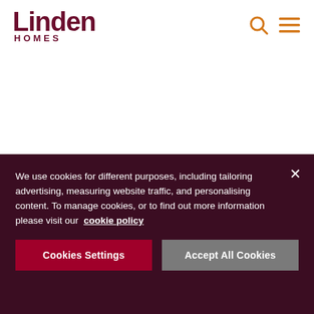[Figure (logo): Linden Homes logo — dark red/maroon wordmark with 'Linden' in large bold text and 'HOMES' in smaller spaced capitals beneath]
[Figure (other): Search icon (magnifying glass) and hamburger menu icon in orange, top-right of navigation header]
We use cookies for different purposes, including tailoring advertising, measuring website traffic, and personalising content. To manage cookies, or to find out more information please visit our cookie policy
Cookies Settings
Accept All Cookies